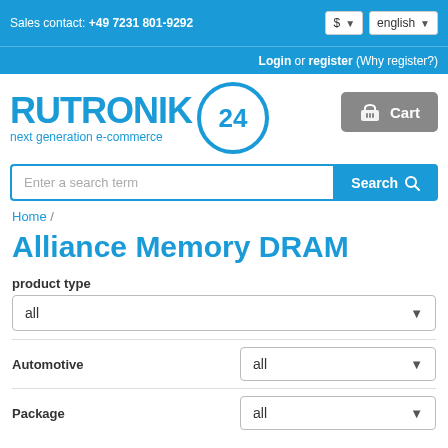Sales contact: +49 7231 801-9292
Login or register (Why register?)
[Figure (logo): Rutronik 24 logo — blue text 'RUTRONIK' with '24' in a blue circle, tagline 'next generation e-commerce']
Cart
Enter a search term  Search
Home /
Alliance Memory DRAM
product type
all
Automotive  all
Package  all